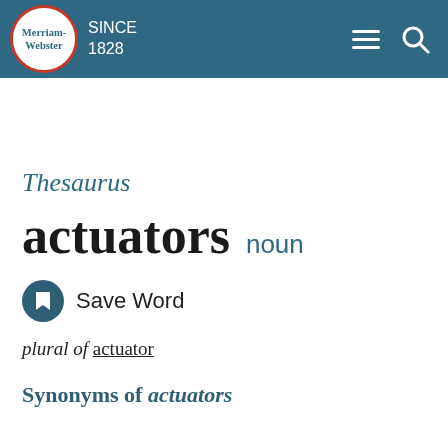Merriam-Webster SINCE 1828
Thesaurus
actuators noun
Save Word
plural of actuator
Synonyms of actuators